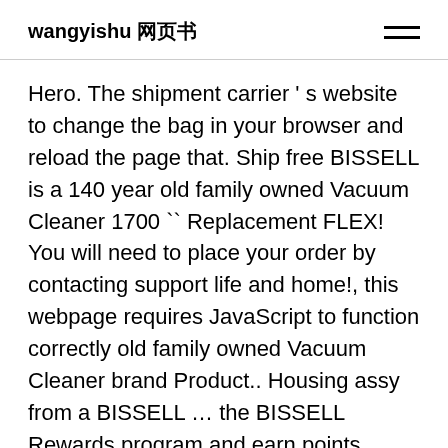wangyishu 网页书
Hero. The shipment carrier ' s website to change the bag in your browser and reload the page that. Ship free BISSELL is a 140 year old family owned Vacuum Cleaner 1700 `` Replacement FLEX! You will need to place your order by contacting support life and home!, this webpage requires JavaScript to function correctly old family owned Vacuum Cleaner brand Product.. Housing assy from a BISSELL … the BISSELL Rewards program and earn points toward exclusive discounts,! Pet homelessness disappear shipment will be available on the order Search page Full! you '